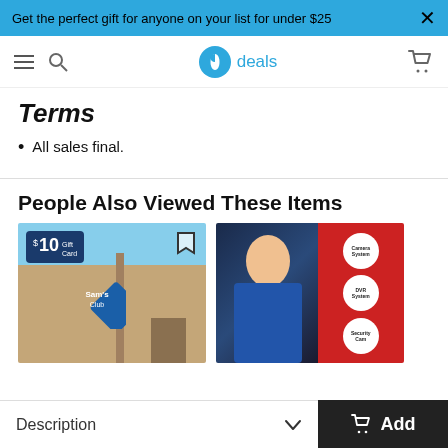Get the perfect gift for anyone on your list for under $25
[Figure (screenshot): Website navigation bar with hamburger menu, search icon, Slickdeals logo with 'deals' text, and shopping cart icon]
Terms
All sales final.
People Also Viewed These Items
[Figure (photo): Sam's Club store exterior with $10 Gift Card badge and bookmark icon]
[Figure (photo): Man looking at security camera systems with red product packaging on the right]
Description  Add